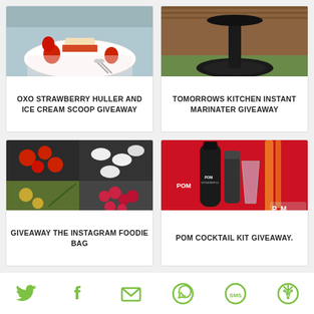[Figure (photo): Strawberry cheesecake slice on a plate with strawberries and spoons]
OXO STRAWBERRY HULLER AND ICE CREAM SCOOP GIVEAWAY
[Figure (photo): Black kitchen stand/base on a green surface with wood background]
TOMORROWS KITCHEN INSTANT MARINATER GIVEAWAY
[Figure (photo): Collage of strawberries, dumplings, herbs, and raspberries on dark surfaces]
GIVEAWAY THE INSTAGRAM FOODIE BAG
[Figure (photo): POM Wonderful cocktail kit with bottle, glass, mixer and red accessories]
POM COCKTAIL KIT GIVEAWAY.
[Figure (infographic): Social sharing bar with Twitter, Facebook, Email, WhatsApp, SMS, and More icons in green]